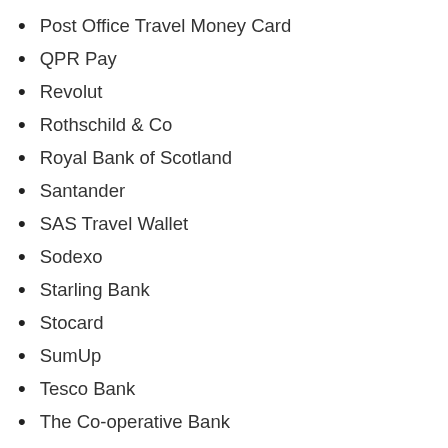Post Office Travel Money Card
QPR Pay
Revolut
Rothschild & Co
Royal Bank of Scotland
Santander
SAS Travel Wallet
Sodexo
Starling Bank
Stocard
SumUp
Tesco Bank
The Co-operative Bank
Thomas Cook Cash Passport (Raphael's)